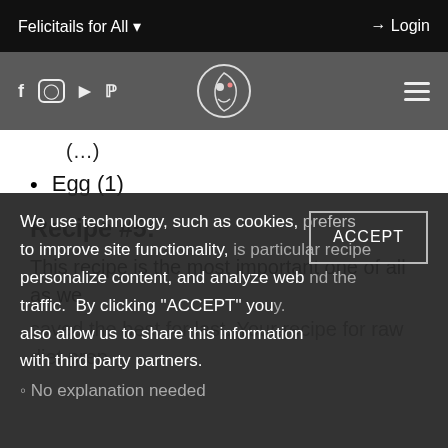Felicitails for All  Login
Egg (1)
Recipe #5:
This recipe is the most important one of all as we saved the best for last. Your recipe for raw diet prep ... prefers ... this particular recipe ... and the ... y.
We use technology, such as cookies, to improve site functionality, personalize content, and analyze web traffic. By clicking “ACCEPT” you also allow us to share this information with third party partners.
1 ovo (250%) No explanation needed